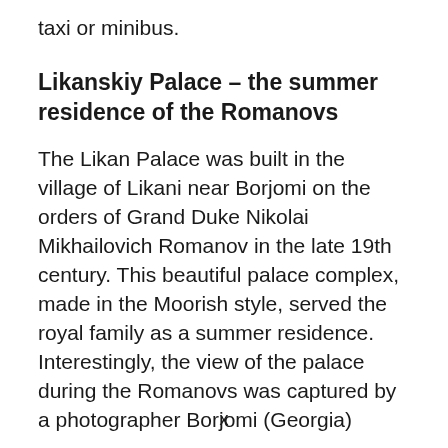taxi or minibus.
Likanskiy Palace – the summer residence of the Romanovs
The Likan Palace was built in the village of Likani near Borjomi on the orders of Grand Duke Nikolai Mikhailovich Romanov in the late 19th century. This beautiful palace complex, made in the Moorish style, served the royal family as a summer residence. Interestingly, the view of the palace during the Romanovs was captured by a photographer Borjomi (Georgia)
x